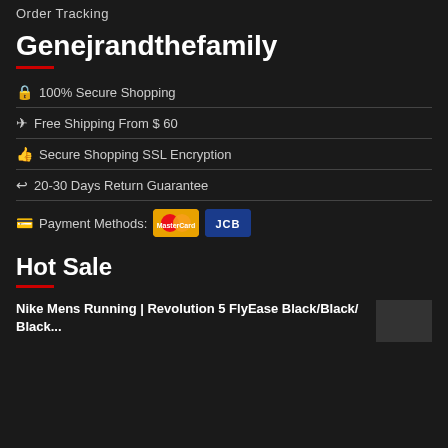Order Tracking
Genejrandthefamily
🔒 100% Secure Shopping
✈ Free Shipping From $ 60
👍 Secure Shopping SSL Encryption
↩ 20-30 Days Return Guarantee
💳 Payment Methods: MasterCard JCB
Hot Sale
Nike Mens Running | Revolution 5 FlyEase Black/Black/Black